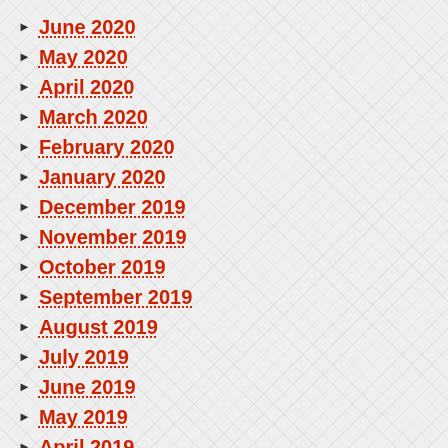June 2020
May 2020
April 2020
March 2020
February 2020
January 2020
December 2019
November 2019
October 2019
September 2019
August 2019
July 2019
June 2019
May 2019
April 2019
March 2019
February 2019